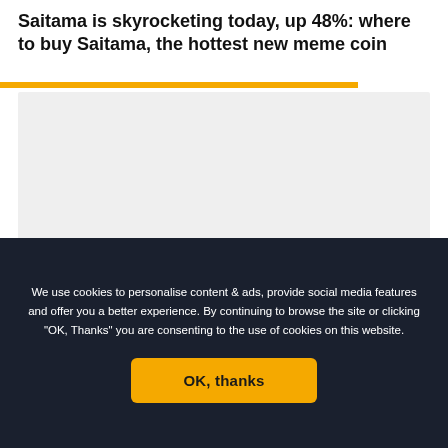Saitama is skyrocketing today, up 48%: where to buy Saitama, the hottest new meme coin
[Figure (other): Large placeholder image area with light gray background and an orange horizontal bar at the top left edge]
[Figure (other): Small placeholder ad bar, light gray background]
[Figure (other): Small placeholder ad bar, light gray background]
We use cookies to personalise content & ads, provide social media features and offer you a better experience. By continuing to browse the site or clicking "OK, Thanks" you are consenting to the use of cookies on this website.